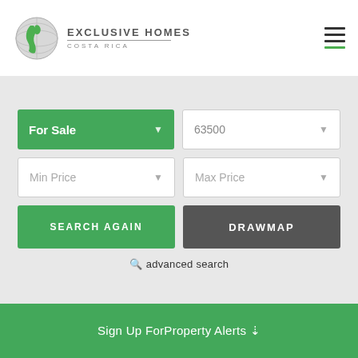[Figure (logo): Exclusive Homes Costa Rica globe logo with text]
[Figure (other): Hamburger menu icon with green underline]
[Figure (screenshot): Property search form with For Sale dropdown, 63500 field, Min Price, Max Price, Search Again and Drawmap buttons, and advanced search link]
Sign Up For Property Alerts ↓